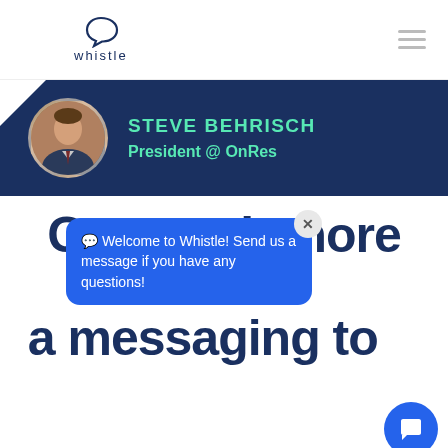[Figure (logo): Whistle logo with speech bubble icon and text 'whistle']
[Figure (photo): Profile banner with dark navy background, circular headshot of Steve Behrisch (man in suit), name and title in teal text]
STEVE BEHRISCH
President @ OnRes
Get much more than a messaging tool
💬 Welcome to Whistle! Send us a message if you have any questions!